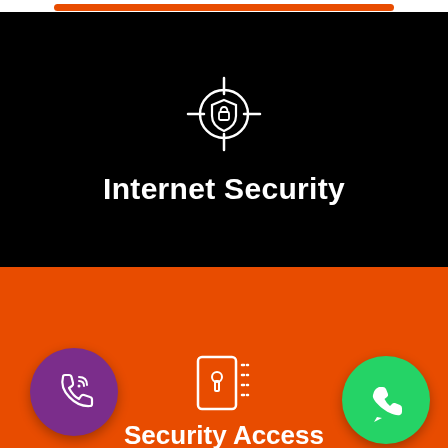[Figure (screenshot): Orange rounded button/bar at top of screen]
[Figure (infographic): Black section with Internet Security icon (crosshair with shield) and bold white text reading 'Internet Security']
Internet Security
[Figure (infographic): Orange section with security access card icon, purple phone call circle icon on left, green WhatsApp circle icon on right, and 'Security Access' text at bottom]
Security Access